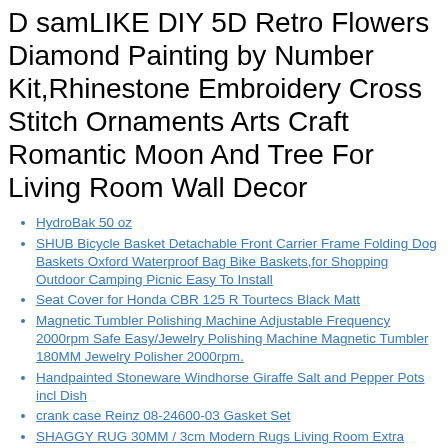D samLIKE DIY 5D Retro Flowers Diamond Painting by Number Kit,Rhinestone Embroidery Cross Stitch Ornaments Arts Craft Romantic Moon And Tree For Living Room Wall Decor
HydroBak 50 oz
SHUB Bicycle Basket Detachable Front Carrier Frame Folding Dog Baskets Oxford Waterproof Bag Bike Baskets,for Shopping Outdoor Camping Picnic Easy To Install
Seat Cover for Honda CBR 125 R Tourtecs Black Matt
Magnetic Tumbler Polishing Machine Adjustable Frequency 2000rpm Safe Easy/Jewelry Polishing Machine Magnetic Tumbler 180MM Jewelry Polisher 2000rpm.
Handpainted Stoneware Windhorse Giraffe Salt and Pepper Pots incl Dish
crank case Reinz 08-24600-03 Gasket Set
SHAGGY RUG 30MM / 3cm Modern Rugs Living Room Extra Large Small Medium Rectangular Size Soft Touch Thick Pile